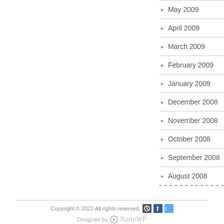May 2009
April 2009
March 2009
February 2009
January 2009
December 2008
November 2008
October 2008
September 2008
August 2008
Copyright © 2022 All rights reserved. Designed by NattyWP